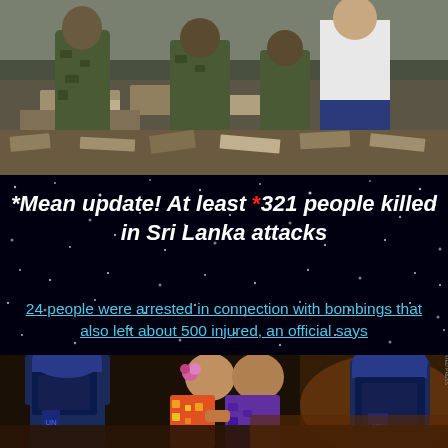[Figure (photo): Soldiers or military personnel sifting through rubble and debris, possibly at an attack site. A man in a white shirt is visible on the right.]
*Mean update! At least *321 people killed in Sri Lanka attacks
24 people were arrested in connection with bombings that also left about 500 injured, an official says
[Figure (photo): Night scene showing people in colorful traditional dress being escorted by individuals in tactical/police gear and blue helmets.]